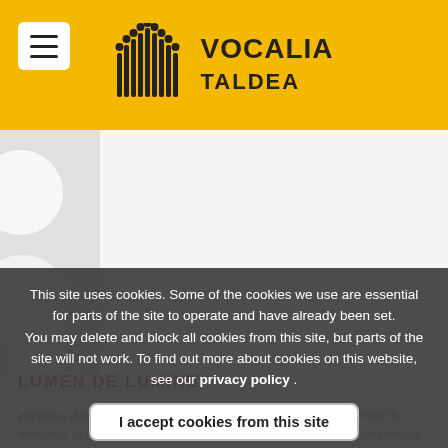VOCALIA TALDEA
[Figure (photo): Background image area with soft white circular bokeh shapes on light grey background, with a darker left panel]
LUMEN DE LUMINE
This site uses cookies. Some of the cookies we use are essential for parts of the site to operate and have already been set. You may delete and block all cookies from this site, but parts of the site will not work. To find out more about cookies on this website, see our privacy policy .
I accept cookies from this site
alludes to a very specific part of the ordinary of the Latin Mass that could be translated as light from light, luminousness and luminosity as its guiding thread. This is a